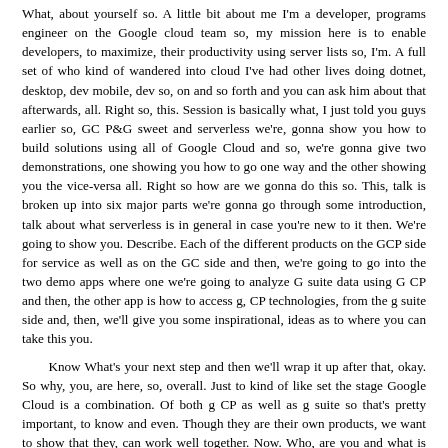What, about yourself so. A little bit about me I'm a developer, programs engineer on the Google cloud team so, my mission here is to enable developers, to maximize, their productivity using server lists so, I'm. A full set of who kind of wandered into cloud I've had other lives doing dotnet, desktop, dev mobile, dev so, on and so forth and you can ask him about that afterwards, all. Right so, this. Session is basically what, I just told you guys earlier so, GC P&G sweet and serverless we're, gonna show you how to build solutions using all of Google Cloud and so, we're gonna give two demonstrations, one showing you how to go one way and the other showing you the vice-versa all. Right so how are we gonna do this so. This, talk is broken up into six major parts we're gonna go through some introduction, talk about what serverless is in general in case you're new to it then. We're going to show you. Describe. Each of the different products on the GCP side for service as well as on the GC side and then, we're going to go into the two demo apps where one we're going to analyze G suite data using G CP and then, the other app is how to access g, CP technologies, from the g suite side and, then, we'll give you some inspirational, ideas as to where you can take this you.
Know What's your next step and then we'll wrap it up after that, okay. So why, you, are here, so, overall. Just to kind of like set the stage Google Cloud is a combination. Of both g CP as well as g suite so that's pretty important, to know and even. Though they are their own products, we want to show that they, can work well together. Now. Who, are you and what is server list those are those are the big questions there's, lots, of different use out there so maybe, you're an engineer you work at a large company or maybe a smaller ones medium sized business a start-up or perhaps, a hobbyist or you work at some independent, software house or. You're in DevOps you're some kind of admin a DevOps person, or you're, a consultant analysts, or some kind of integrator, or any, other type of technical professional, or decision maker on, the. GCP site you could be a